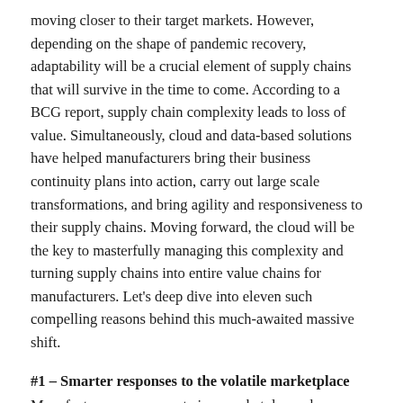moving closer to their target markets. However, depending on the shape of pandemic recovery, adaptability will be a crucial element of supply chains that will survive in the time to come. According to a BCG report, supply chain complexity leads to loss of value. Simultaneously, cloud and data-based solutions have helped manufacturers bring their business continuity plans into action, carry out large scale transformations, and bring agility and responsiveness to their supply chains. Moving forward, the cloud will be the key to masterfully managing this complexity and turning supply chains into entire value chains for manufacturers. Let’s deep dive into eleven such compelling reasons behind this much-awaited massive shift.
#1 – Smarter responses to the volatile marketplace
Manufacturers now operate in a marketplace where supply and demand no longer move in identifiable patterns. Add to this, the increasing need for customization across capital-intensive production environments, and a high-precision response to production planning and inventory management